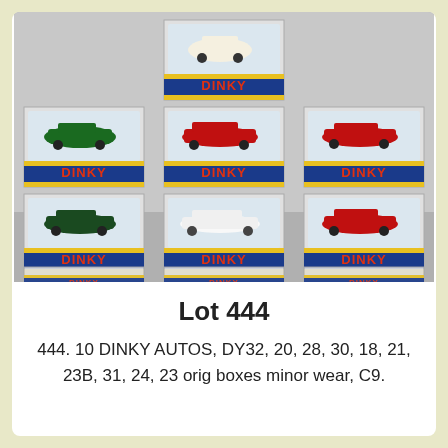[Figure (photo): Ten Dinky diecast model cars in their original clear-lidded Dinky branded boxes, arranged in a display: one box on top, three rows of three boxes below, showing various classic car models including sports cars and a Citroen 2CV.]
Lot 444
444. 10 DINKY AUTOS, DY32, 20, 28, 30, 18, 21, 23B, 31, 24, 23 orig boxes minor wear, C9.